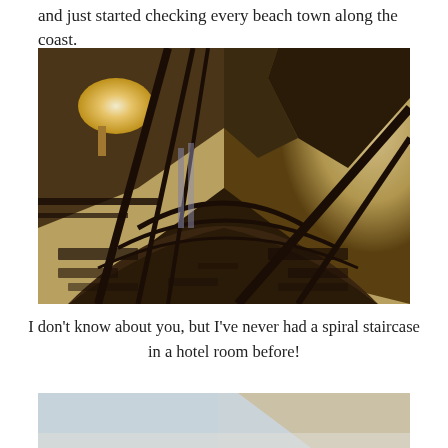and just started checking every beach town along the coast.
[Figure (photo): Looking down a spiral staircase from above, showing dark patterned carpet on the steps and landings, with warm yellow-lit walls and dark metal railings visible.]
I don't know about you, but I've never had a spiral staircase in a hotel room before!
[Figure (photo): Partial view of another room or staircase area, showing light blue and beige tones, partially cropped at the bottom of the page.]